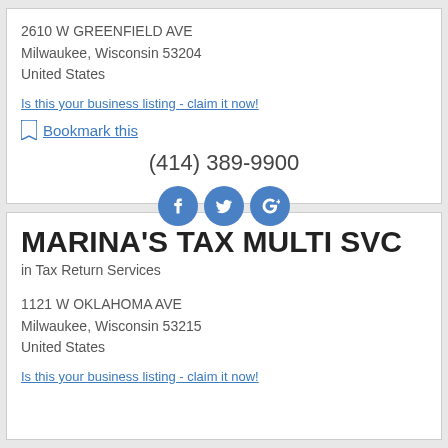2610 W GREENFIELD AVE
Milwaukee, Wisconsin 53204
United States
Is this your business listing - claim it now!
Bookmark this
(414) 389-9900
[Figure (illustration): Social media icons: Facebook, Twitter, Google+]
MARINA'S TAX MULTI SVC
in Tax Return Services
1121 W OKLAHOMA AVE
Milwaukee, Wisconsin 53215
United States
Is this your business listing - claim it now!